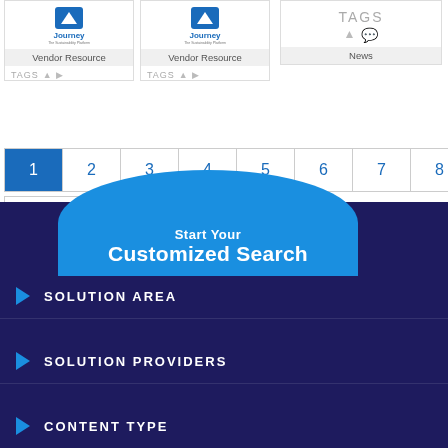[Figure (screenshot): Three card items showing Journey Vendor Resource and News with TAGS rows]
1 2 3 4 5 6 7 8 9 ... next › last »
[Figure (infographic): Start Your Customized Search banner with SOLUTION AREA, SOLUTION PROVIDERS, CONTENT TYPE menu items]